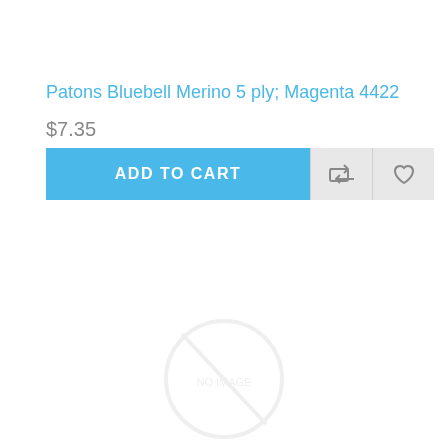Patons Bluebell Merino 5 ply; Magenta 4422
$7.35
[Figure (screenshot): Add to Cart button row with blue ADD TO CART button and two icon buttons (repeat/compare icon and wishlist heart icon) on grey background]
[Figure (logo): Faint circular watermark logo at bottom center of page]